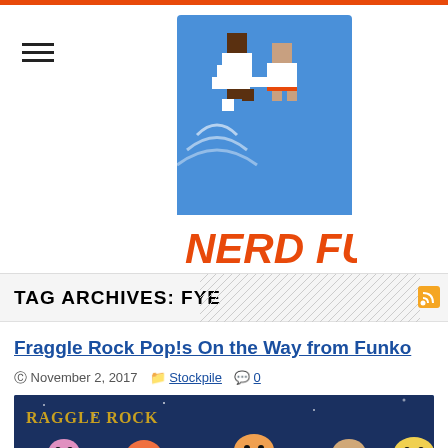[Figure (logo): Nerd Fu website logo featuring pixel art characters doing martial arts on a blue background with orange 'NERD FU' text]
TAG ARCHIVES: FYE
Fraggle Rock Pop!s On the Way from Funko
November 2, 2017  Stockpile  0
[Figure (photo): Fraggle Rock Funko Pop figures displayed against a blue starry background, showing colorful puppet-like characters]